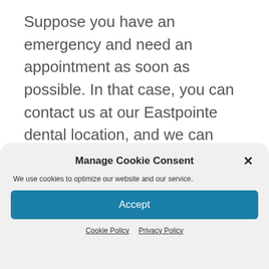Suppose you have an emergency and need an appointment as soon as possible. In that case, you can contact us at our Eastpointe dental location, and we can answer any questions about coverage and payment. In addition, if you call ahead for an
Manage Cookie Consent
We use cookies to optimize our website and our service.
Accept
Cookie Policy   Privacy Policy